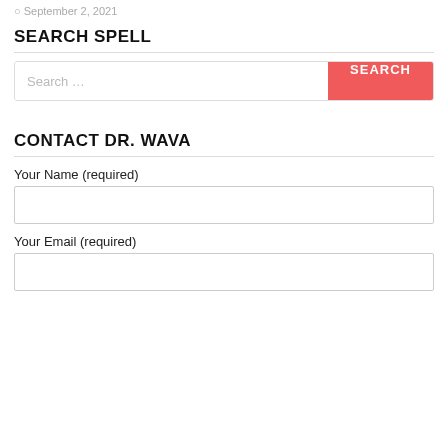September 2, 2021
SEARCH SPELL
[Figure (screenshot): Search bar with placeholder text 'Search ...' and a red SEARCH button]
CONTACT DR. WAVA
Your Name (required)
[Figure (screenshot): Empty text input field for Your Name]
Your Email (required)
[Figure (screenshot): Empty text input field for Your Email]